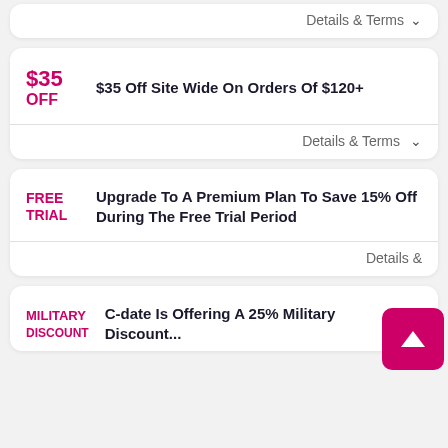Details & Terms
$35 OFF
$35 Off Site Wide On Orders Of $120+
Details & Terms
FREE TRIAL
Upgrade To A Premium Plan To Save 15% Off During The Free Trial Period
Details &
MILITARY
C-date Is Offering A 25% Military Discount